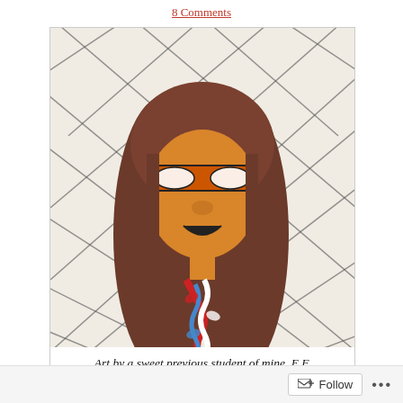8 Comments
[Figure (illustration): Child's crayon/marker drawing of a person with long brown hair, orange face, orange-tinted glasses/blindfold, and a red-white-blue braided necklace or tie, set against a background of dark diagonal cross-hatch lines on white paper.]
Art by a sweet previous student of mine, E.F.
Follow